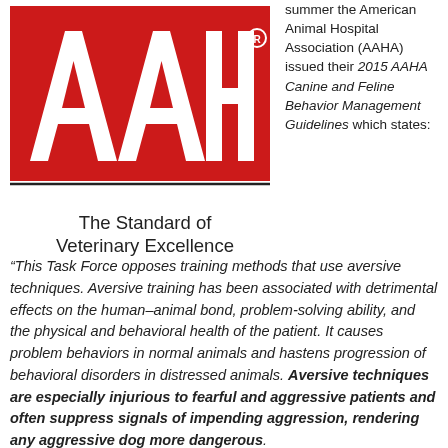[Figure (logo): AAHA logo: red square with white letters AAHA and registered trademark symbol, black horizontal rule beneath]
The Standard of Veterinary Excellence
summer the American Animal Hospital Association (AAHA) issued their 2015 AAHA Canine and Feline Behavior Management Guidelines which states:
“This Task Force opposes training methods that use aversive techniques. Aversive training has been associated with detrimental effects on the human–animal bond, problem-solving ability, and the physical and behavioral health of the patient. It causes problem behaviors in normal animals and hastens progression of behavioral disorders in distressed animals. Aversive techniques are especially injurious to fearful and aggressive patients and often suppress signals of impending aggression, rendering any aggressive dog more dangerous.